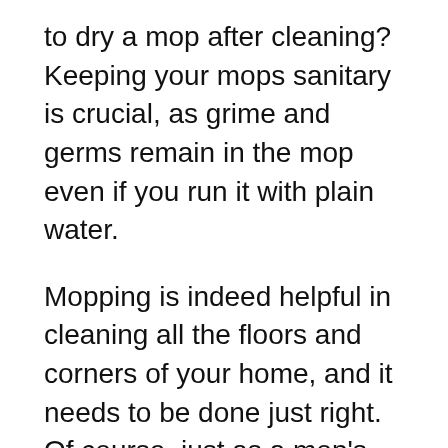to dry a mop after cleaning? Keeping your mops sanitary is crucial, as grime and germs remain in the mop even if you run it with plain water.
Mopping is indeed helpful in cleaning all the floors and corners of your home, and it needs to be done just right. Of course, just as a mop's purpose, it needs to have proper care the more relentless and cleaning after use. That's why in this article, you will know the proper ways on how to dry a mop. As I will give you the dry